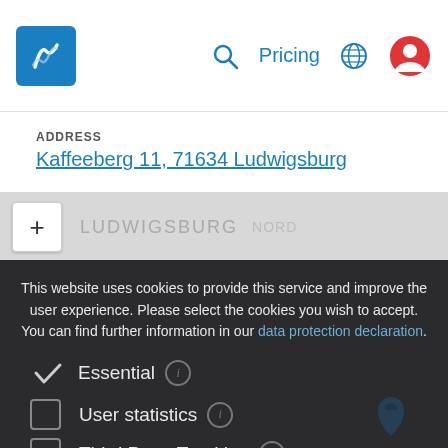Pricing
ADDRESS
Kaffeeberg 11, 71634 Ludwigsburg
[Figure (map): Map view showing Ludwigsburg area with a plus (+) zoom button in top left, map tiles showing LUDWIGSBURG and NORD labels]
This website uses cookies to provide this service and improve the user experience. Please select the cookies you wish to accept. You can find further information in our data protection declaration.
Essential
User statistics
Third Party Tracking